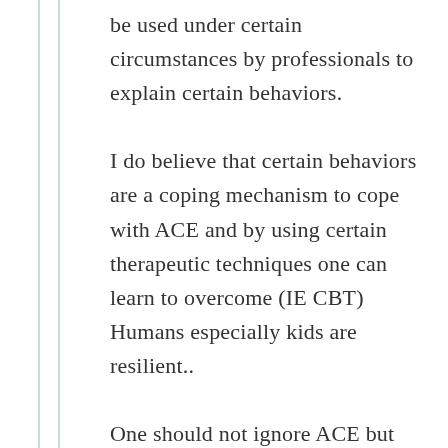be used under certain circumstances by professionals to explain certain behaviors. I do believe that certain behaviors are a coping mechanism to cope with ACE and by using certain therapeutic techniques one can learn to overcome (IE CBT) Humans especially kids are resilient.. One should not ignore ACE but take it with a